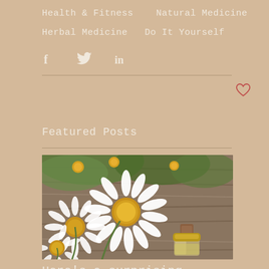Health & Fitness   Natural Medicine
Herbal Medicine   Do It Yourself
[Figure (other): Social media share icons: Facebook (f), Twitter (bird), LinkedIn (in)]
[Figure (other): Heart/like icon in red-orange outline]
Featured Posts
[Figure (photo): Close-up photograph of white chamomile daisy flowers with yellow centres on a wooden surface, with a small glass bottle (essential oil) with cork stopper and gold cap]
Here's a surprising